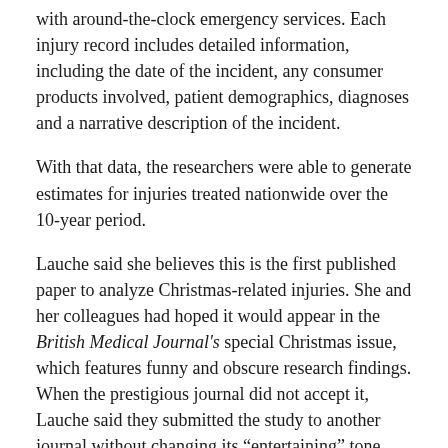with around-the-clock emergency services. Each injury record includes detailed information, including the date of the incident, any consumer products involved, patient demographics, diagnoses and a narrative description of the incident.
With that data, the researchers were able to generate estimates for injuries treated nationwide over the 10-year period.
Lauche said she believes this is the first published paper to analyze Christmas-related injuries. She and her colleagues had hoped it would appear in the British Medical Journal's special Christmas issue, which features funny and obscure research findings. When the prestigious journal did not accept it, Lauche said they submitted the study to another journal without changing its “entertaining” tone.
Here are some other big takeaways: